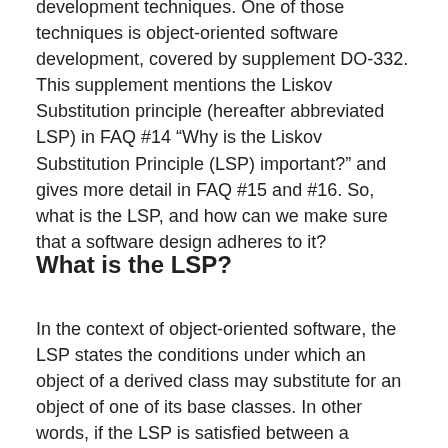development techniques. One of those techniques is object-oriented software development, covered by supplement DO-332. This supplement mentions the Liskov Substitution principle (hereafter abbreviated LSP) in FAQ #14 “Why is the Liskov Substitution Principle (LSP) important?” and gives more detail in FAQ #15 and #16. So, what is the LSP, and how can we make sure that a software design adheres to it?
What is the LSP?
In the context of object-oriented software, the LSP states the conditions under which an object of a derived class may substitute for an object of one of its base classes. In other words, if the LSP is satisfied between a derived class D and its base class B, then we can say that